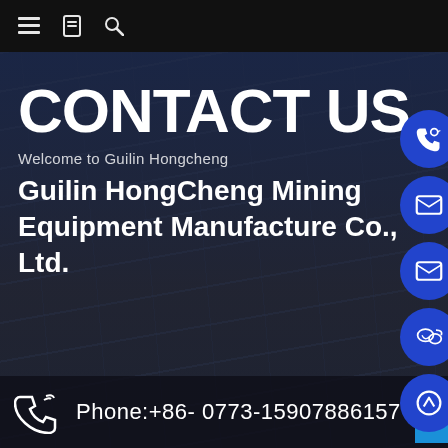Navigation bar with menu, bookmark, and search icons
CONTACT US
Welcome to Guilin Hongcheng
Guilin HongCheng Mining Equipment Manufacture Co., Ltd.
[Figure (infographic): Side floating action buttons: phone, email, email, WeChat, scroll-to-top]
Phone:+86- 0773-15907886157